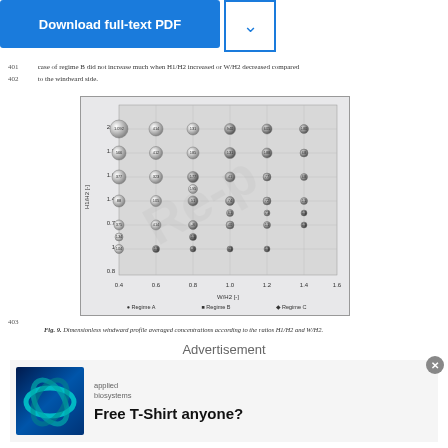401   case of regime B did not increase much when H1/H2 increased or W/H2 decreased compared
402   to the windward side.
[Figure (scatter-plot): Bubble/scatter plot showing dimensionless windward profile averaged concentrations according to the ratios H1/H2 and W/H2. Axes: x-axis W/H2 (range 0.4 to 1.6), y-axis H1/H2 (range 0.5 to 2.2). Circles of varying sizes indicate concentration values. Legend: circle = Regime A, square = Regime B, diamond = Regime C.]
403
Fig. 9. Dimensionless windward profile averaged concentrations according to the ratios H1/H2 and W/H2.
Advertisement
[Figure (logo): Applied Biosystems logo with infinity symbol on blue background, advertisement for Free T-Shirt anyone?]